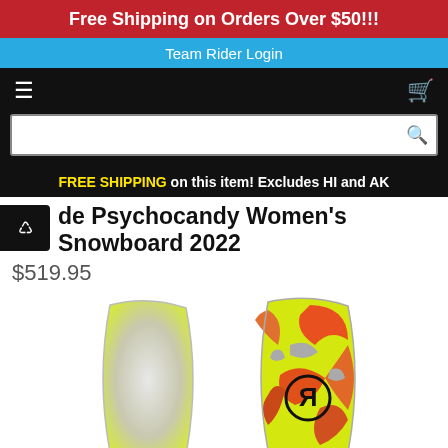Free Shipping on Orders Over $50!!!
Team Rider Login
FREE SHIPPING on this item! Excludes HI and AK
Ride Psychocandy Women's Snowboard 2022
$519.95
[Figure (photo): Two snowboards shown side by side — left shows the white/yellow base, right shows the colorful top graphic with yellow, orange, red, grey swirl pattern and a reversed R logo.]